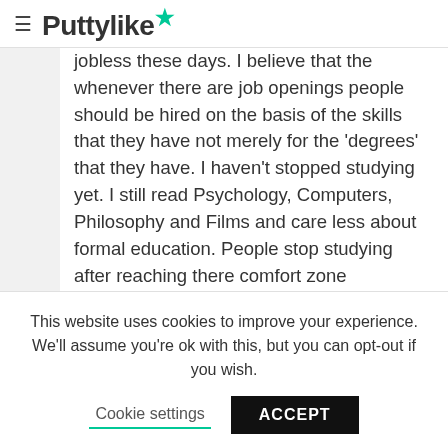≡ Puttylike★
jobless these days. I believe that the whenever there are job openings people should be hired on the basis of the skills that they have not merely for the 'degrees' that they have. I haven't stopped studying yet. I still read Psychology, Computers, Philosophy and Films and care less about formal education. People stop studying after reaching there comfort zone
This website uses cookies to improve your experience. We'll assume you're ok with this, but you can opt-out if you wish.
Cookie settings  ACCEPT